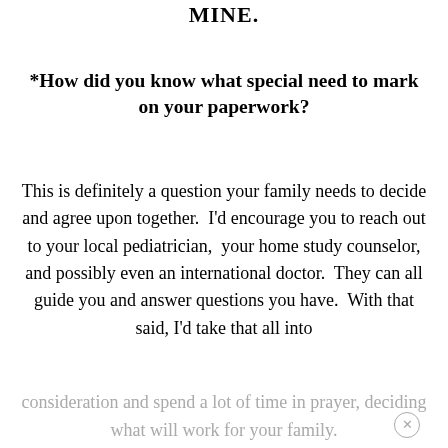MINE.
*How did you know what special need to mark on your paperwork?
This is definitely a question your family needs to decide and agree upon together.  I'd encourage you to reach out to your local pediatrician,  your home study counselor, and possibly even an international doctor.  They can all guide you and answer questions you have.  With that said, I'd take that all into consideration and spend a lot of time in prayer, deciding what will work for your family.